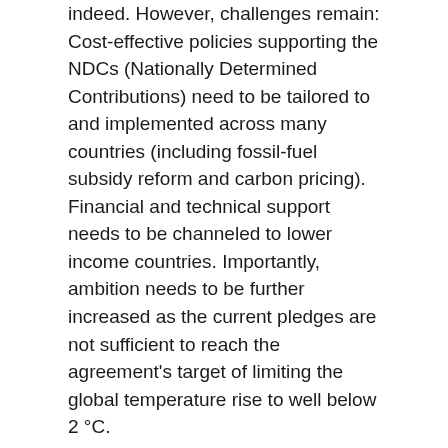indeed. However, challenges remain: Cost-effective policies supporting the NDCs (Nationally Determined Contributions) need to be tailored to and implemented across many countries (including fossil-fuel subsidy reform and carbon pricing). Financial and technical support needs to be channeled to lower income countries. Importantly, ambition needs to be further increased as the current pledges are not sufficient to reach the agreement's target of limiting the global temperature rise to well below 2 °C.
So what to make of President Trump's decision then? In short: Pulling out of the Paris Agreement will not stop the technological mega-trend towards low-carbon technologies. Even the US low-carbon technology industry is unlikely to suffer from his decision in the short run, in part because states like California, but also many cities, are stepping in.